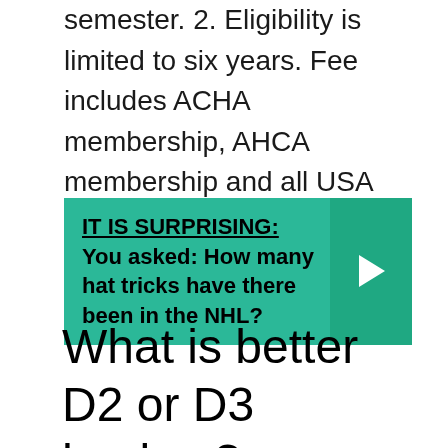semester. 2. Eligibility is limited to six years. Fee includes ACHA membership, AHCA membership and all USA Hockey team and player membership.
[Figure (infographic): Teal banner with bold text 'IT IS SURPRISING: You asked: How many hat tricks have there been in the NHL?' with a right-arrow chevron on the right side.]
What is better D2 or D3 hockey?
“D2 tends to be way more structured than D3 and a higher level of play,” Hughes said. “D1 is almost all funded, and the top-15ish teams play incredible hockey, with some Tier 1 and Tier 2 junior players included. D2…